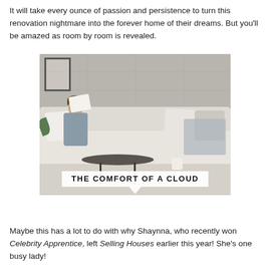It will take every ounce of passion and persistence to turn this renovation nightmare into the forever home of their dreams. But you'll be amazed as room by room is revealed.
[Figure (photo): A woman reclines on a large white cloud-like sofa, reading a book. A dark oval coffee table sits in front. The room has an industrial concrete wall and artwork. An overlay label reads 'THE COMFORT OF A CLOUD' in a white speech-bubble box.]
Maybe this has a lot to do with why Shaynna, who recently won Celebrity Apprentice, left Selling Houses earlier this year! She's one busy lady!